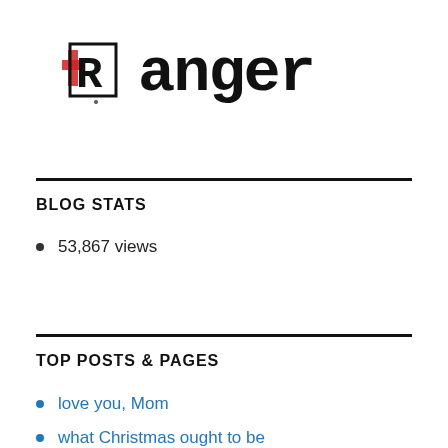[Figure (logo): Blog logo with stylized 'R' icon in red/black and the word 'Ranger' in bold typewriter font]
BLOG STATS
53,867 views
TOP POSTS & PAGES
love you, Mom
what Christmas ought to be